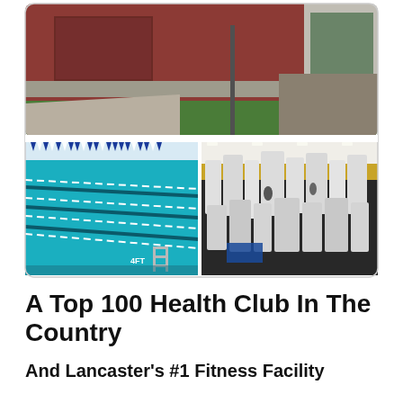[Figure (photo): Photo collage of a health club facility: top image shows exterior of building with red brick/siding, green lawn, parking area; bottom-left shows indoor swimming pool with lane lines, blue and white pennant banners, and ladder; bottom-right shows a large gym floor filled with weight machines and equipment.]
A Top 100 Health Club In The Country
And Lancaster's #1 Fitness Facility